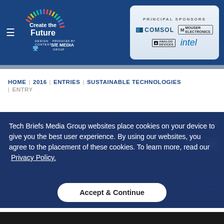Create the Future Design Contest — Principal Sponsors: COMSOL, Mouser Electronics, Analog Devices, Intel
HOME | 2016 | ENTRIES | SUSTAINABLE TECHNOLOGIES | ENTRY
Tech Briefs Media Group websites place cookies on your device to give you the best user experience. By using our websites, you agree to the placement of these cookies. To learn more, read our Privacy Policy.
Accept & Continue